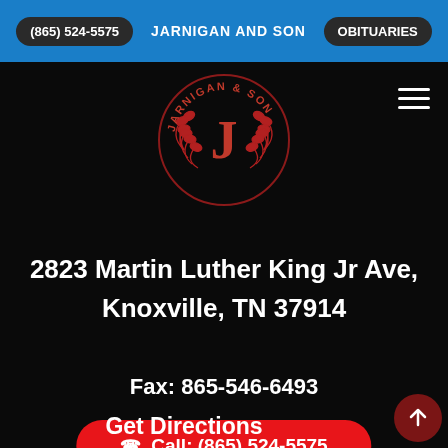(865) 524-5575   JARNIGAN AND SON   OBITUARIES
[Figure (logo): Jarnigan and Son circular logo with red laurel wreath and letter J in center, text reading JARNIGAN & SON around the circle]
2823 Martin Luther King Jr Ave,
Knoxville, TN 37914
Fax: 865-546-6493
Call: (865) 524-5575
Get Directions